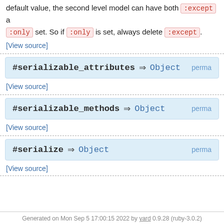default value, the second level model can have both :except and :only set. So if :only is set, always delete :except.
[View source]
#serializable_attributes ⇒ Object perma
[View source]
#serializable_methods ⇒ Object perma
[View source]
#serialize ⇒ Object perma
[View source]
Generated on Mon Sep 5 17:00:15 2022 by yard 0.9.28 (ruby-3.0.2)